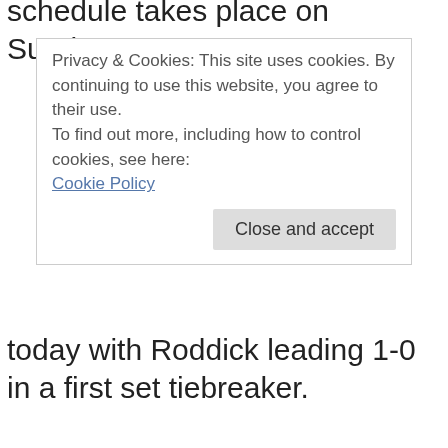schedule takes place on Sunday.
Privacy & Cookies: This site uses cookies. By continuing to use this website, you agree to their use.
To find out more, including how to control cookies, see here:
Cookie Policy
Close and accept
today with Roddick leading 1-0 in a first set tiebreaker.
UNDATED (AP) – The afternoon schedule in baseball consists of four games, two in each league. In the National League the Reds are playing host to the Phillies, while in St. Louis the Cardinals are facing off...
Minnesota and Oakland is home to the Angels.